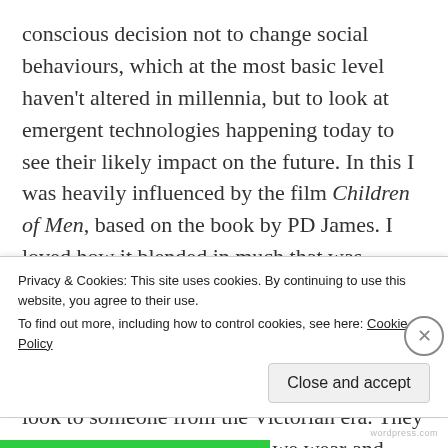conscious decision not to change social behaviours, which at the most basic level haven't altered in millennia, but to look at emergent technologies happening today to see their likely impact on the future. In this I was heavily influenced by the film Children of Men, based on the book by PD James. I loved how it blended in much that was familiar and then almost shocked the audience with technology far outstripping what we understand today. It just rang true. I realised this is how our world today would look to someone from the Victorian era. They would recognise the clothes we wear and much of what we do
Privacy & Cookies: This site uses cookies. By continuing to use this website, you agree to their use.
To find out more, including how to control cookies, see here: Cookie Policy
Close and accept